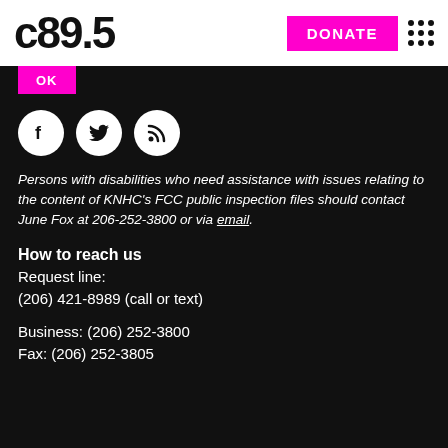C89.5 | DONATE
[Figure (logo): C89.5 radio station logo in bold black text]
OK
[Figure (illustration): Social media icons: Facebook, Twitter, RSS feed — white circles on black background]
Persons with disabilities who need assistance with issues relating to the content of KNHC's FCC public inspection files should contact June Fox at 206-252-3800 or via email.
How to reach us
Request line:
(206) 421-8989 (call or text)

Business: (206) 252-3800
Fax: (206) 252-3805